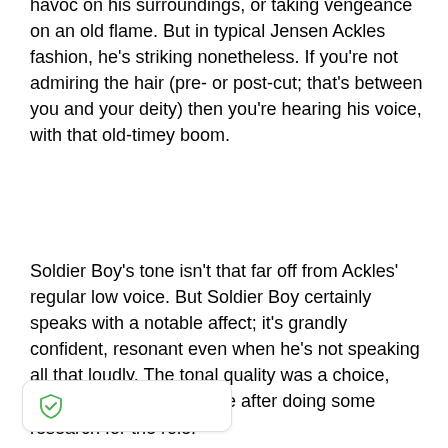havoc on his surroundings, or taking vengeance on an old flame. But in typical Jensen Ackles fashion, he's striking nonetheless. If you're not admiring the hair (pre- or post-cut; that's between you and your deity) then you're hearing his voice, with that old-timey boom.
Soldier Boy's tone isn't that far off from Ackles' regular low voice. But Soldier Boy certainly speaks with a notable affect; it's grandly confident, resonant even when he's not speaking all that loudly. The tonal quality was a choice, Ackles said, that he made after doing some research for the role.
[Figure (logo): Shield icon badge in bottom-left corner, white background with rounded rectangle border and a green shield with checkmark icon]